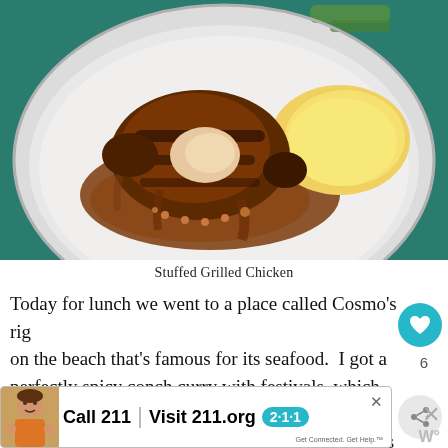[Figure (photo): A plate of stuffed grilled chicken with brown gravy sauce and mashed potatoes on a white plate, photographed from above on a teal/green tablecloth background.]
Stuffed Grilled Chicken
Today for lunch we went to a place called Cosmo's right on the beach that's famous for its seafood.  I got a perfectly spicy conch curry with festivals, which are slightly sweet, doughy fried dumplings.  Delicious again.  So far I have loved everything I've eaten (and d
[Figure (screenshot): An advertisement banner at the bottom of the page featuring a child photo on the left, and text reading 'Call 211 | Visit 211.org' with a teal 2-1-1 badge and small tagline 'Get Connected. Get Help.' There is an X close button on the banner and a separate X close button to the right.]